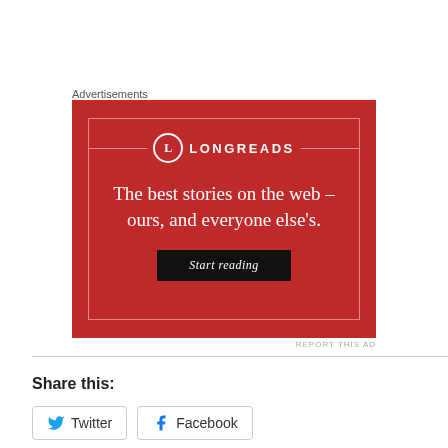Advertisements
[Figure (illustration): Longreads advertisement banner on a red background. Shows the Longreads logo (circle with L), the text 'The best stories on the web – ours, and everyone else's.' and a 'Start reading' button.]
REPORT THIS AD
Share this:
Twitter
Facebook